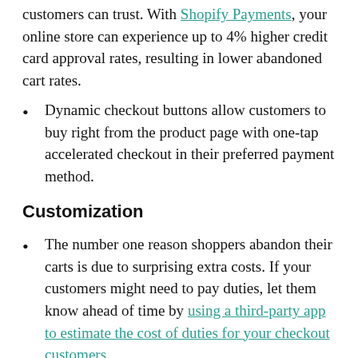customers can trust. With Shopify Payments, your online store can experience up to 4% higher credit card approval rates, resulting in lower abandoned cart rates.
Dynamic checkout buttons allow customers to buy right from the product page with one-tap accelerated checkout in their preferred payment method.
Customization
The number one reason shoppers abandon their carts is due to surprising extra costs. If your customers might need to pay duties, let them know ahead of time by using a third-party app to estimate the cost of duties for your checkout customers.